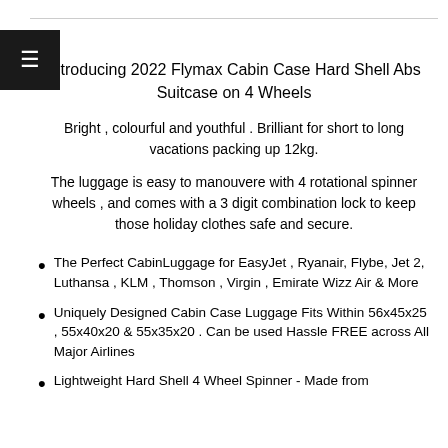Introducing 2022 Flymax Cabin Case Hard Shell Abs Suitcase on 4 Wheels
Bright , colourful and youthful . Brilliant for short to long vacations packing up 12kg.
The luggage is easy to manouvere with 4 rotational spinner wheels , and comes with a 3 digit combination lock to keep those holiday clothes safe and secure.
The Perfect CabinLuggage for EasyJet , Ryanair, Flybe, Jet 2, Luthansa , KLM , Thomson , Virgin , Emirate Wizz Air & More
Uniquely Designed Cabin Case Luggage Fits Within 56x45x25 , 55x40x20 & 55x35x20 . Can be used Hassle FREE across All Major Airlines
Lightweight Hard Shell 4 Wheel Spinner - Made from